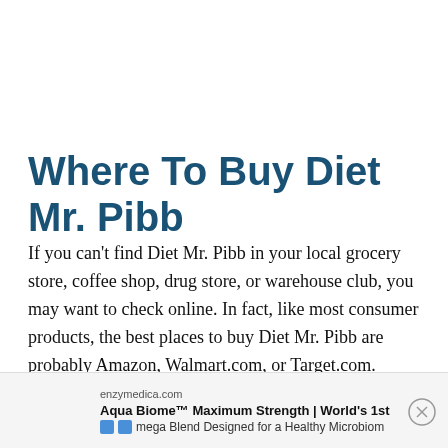Where To Buy Diet Mr. Pibb
If you can't find Diet Mr. Pibb in your local grocery store, coffee shop, drug store, or warehouse club, you may want to check online. In fact, like most consumer products, the best places to buy Diet Mr. Pibb are probably Amazon, Walmart.com, or Target.com.
[Figure (screenshot): Advertisement banner from enzymedica.com showing 'Aqua Biome™ Maximum Strength | World's 1st mega Blend Designed for a Healthy Microbiome' with social media icons and a close button.]